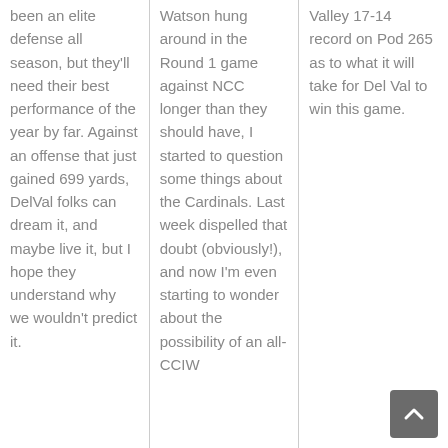Aggies have been an elite defense all season, but they'll need their best performance of the year by far. Against an offense that just gained 699 yards, DelVal folks can dream it, and maybe live it, but I hope they understand why we wouldn't predict it.
Watson hung around in the Round 1 game against NCC longer than they should have, I started to question some things about the Cardinals. Last week dispelled that doubt (obviously!), and now I'm even starting to wonder about the possibility of an all-CCIW
Valley 17-14 record on Pod 265 as to what it will take for Del Val to win this game.